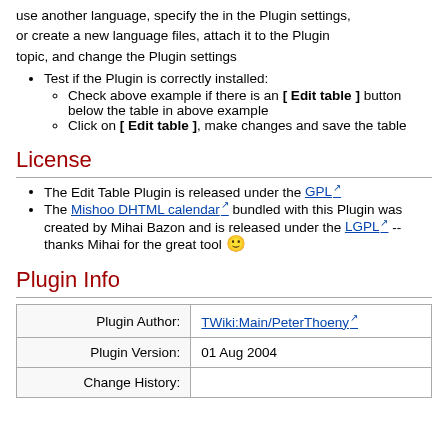use another language, specify the in the Plugin settings, or create a new language files, attach it to the Plugin topic, and change the Plugin settings
Test if the Plugin is correctly installed:
Check above example if there is an [ Edit table ] button below the table in above example
Click on [ Edit table ], make changes and save the table
License
The Edit Table Plugin is released under the GPL
The Mishoo DHTML calendar bundled with this Plugin was created by Mihai Bazon and is released under the LGPL -- thanks Mihai for the great tool 🙂
Plugin Info
| Plugin Author: | TWiki:Main/PeterThoeny |
| --- | --- |
| Plugin Version: | 01 Aug 2004 |
| Change History: |  |